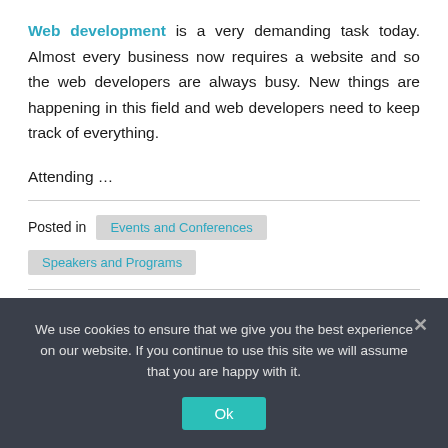Web development is a very demanding task today. Almost every business now requires a website and so the web developers are always busy. New things are happening in this field and web developers need to keep track of everything.
Attending …
Posted in  Events and Conferences  Speakers and Programs
We use cookies to ensure that we give you the best experience on our website. If you continue to use this site we will assume that you are happy with it.